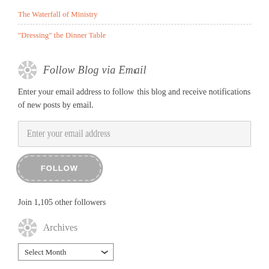The Waterfall of Ministry
“Dressing” the Dinner Table
Follow Blog via Email
Enter your email address to follow this blog and receive notifications of new posts by email.
Enter your email address
FOLLOW
Join 1,105 other followers
Archives
Select Month